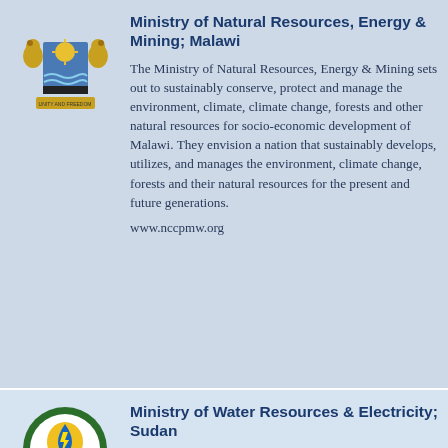[Figure (logo): Malawi coat of arms - two lions flanking a shield with sun and waves]
Ministry of Natural Resources, Energy & Mining; Malawi
The Ministry of Natural Resources, Energy & Mining sets out to sustainably conserve, protect and manage the environment, climate, climate change, forests and other natural resources for socio-economic development of Malawi. They envision a nation that sustainably develops, utilizes, and manages the environment, climate change, forests and their natural resources for the present and future generations.
www.nccpmw.org
[Figure (logo): Ministry of Water Resources & Electricity Sudan logo - circular emblem with water drop and lightning bolt]
Ministry of Water Resources & Electricity; Sudan
wre.gov.sd
[Figure (logo): Ministry of Water Resources & Energy Cameroon logo]
Ministry of Water Resources & Energy; Cameroon